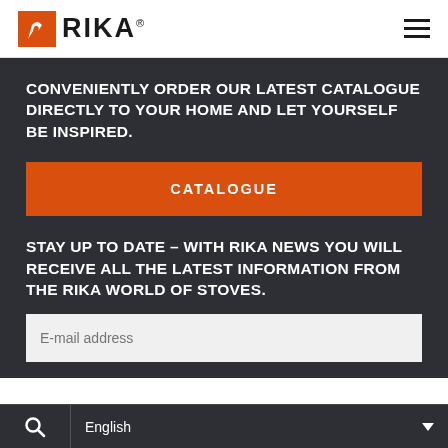RIKA
CONVENIENTLY ORDER OUR LATEST CATALOGUE DIRECTLY TO YOUR HOME AND LET YOURSELF BE INSPIRED.
CATALOGUE
STAY UP TO DATE – WITH RIKA NEWS YOU WILL RECEIVE ALL THE LATEST INFORMATION FROM THE RIKA WORLD OF STOVES.
E-mail address
English